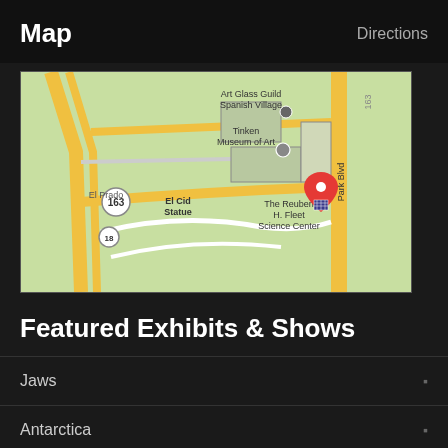Map
Directions
[Figure (map): Google Maps view showing Balboa Park area in San Diego, including landmarks: Art Glass Guild Spanish Village, Tinken Museum of Art, El Cid Statue, The Reuben H. Fleet Science Center, El Prado, Park Blvd, route 163. A red map pin marks The Reuben H. Fleet Science Center.]
Featured Exhibits & Shows
Jaws
Antarctica
Snow: Tiny Crystals Global Impact